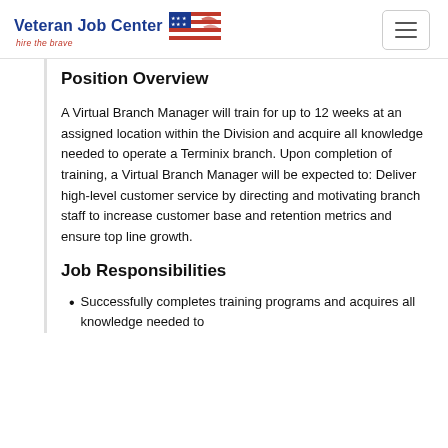Veteran Job Center — hire the brave
Position Overview
A Virtual Branch Manager will train for up to 12 weeks at an assigned location within the Division and acquire all knowledge needed to operate a Terminix branch. Upon completion of training, a Virtual Branch Manager will be expected to: Deliver high-level customer service by directing and motivating branch staff to increase customer base and retention metrics and ensure top line growth.
Job Responsibilities
Successfully completes training programs and acquires all knowledge needed to